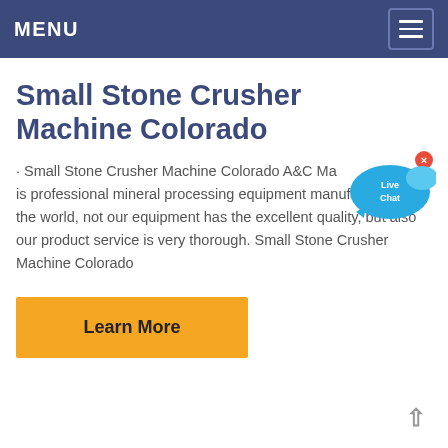MENU
Small Stone Crusher Machine Colorado
· Small Stone Crusher Machine Colorado A&C Ma is professional mineral processing equipment manufacturer in the world, not our equipment has the excellent quality, but also our product service is very thorough. Small Stone Crusher Machine Colorado
[Figure (illustration): Live Chat bubble icon in blue with white text 'Live Chat']
Learn More